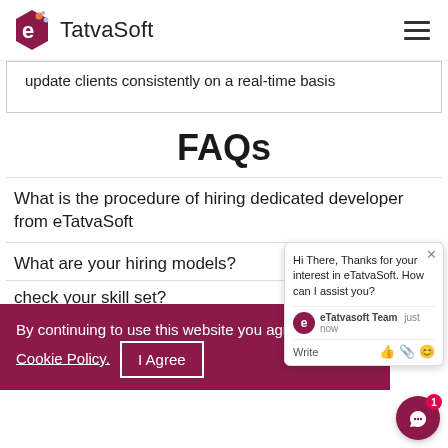eTatvaSoft
update clients consistently on a real-time basis
FAQs
What is the procedure of hiring dedicated developer from eTatvaSoft
What are your hiring models?
By continuing to use this website you agree to our Cookie Policy. I Agree
check your skill set?